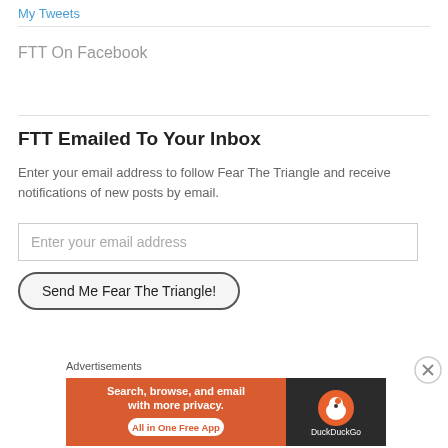My Tweets
FTT On Facebook
FTT Emailed To Your Inbox
Enter your email address to follow Fear The Triangle and receive notifications of new posts by email.
Enter your email address
Send Me Fear The Triangle!
Advertisements
[Figure (infographic): DuckDuckGo advertisement banner: orange and dark background with text 'Search, browse, and email with more privacy. All in One Free App' and DuckDuckGo duck logo on the right side.]